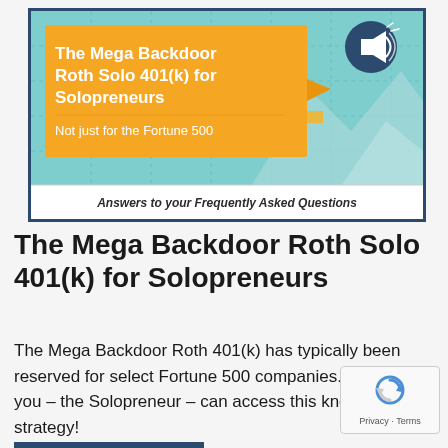[Figure (infographic): Infographic cover image for 'The Mega Backdoor Roth Solo 401(k) for Solopreneurs'. Features a teal/turquoise background with grid lines, mountain silhouette, an orange banner with the title text and subtitle 'Not just for the Fortune 500', a megaphone icon in the top right, and a white FAQ strip at the bottom reading 'Answers to your Frequently Asked Questions'.]
The Mega Backdoor Roth Solo 401(k) for Solopreneurs
The Mega Backdoor Roth 401(k) has typically been reserved for select Fortune 500 companies. Here’s how you – the Solopreneur – can access this known strategy!